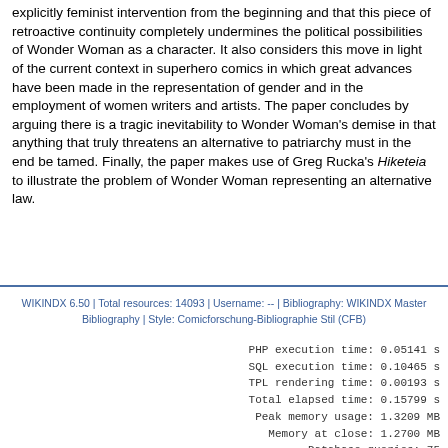explicitly feminist intervention from the beginning and that this piece of retroactive continuity completely undermines the political possibilities of Wonder Woman as a character. It also considers this move in light of the current context in superhero comics in which great advances have been made in the representation of gender and in the employment of women writers and artists. The paper concludes by arguing there is a tragic inevitability to Wonder Woman's demise in that anything that truly threatens an alternative to patriarchy must in the end be tamed. Finally, the paper makes use of Greg Rucka's Hiketeia to illustrate the problem of Wonder Woman representing an alternative law.
WIKINDX 6.50 | Total resources: 14093 | Username: -- | Bibliography: WIKINDX Master Bibliography | Style: Comicforschung-Bibliographie Stil (CFB)
PHP execution time: 0.05141 s
SQL execution time: 0.10465 s
TPL rendering time: 0.00193 s
Total elapsed time: 0.15799 s
Peak memory usage: 1.3209 MB
Memory at close: 1.2700 MB
Database queries: 75